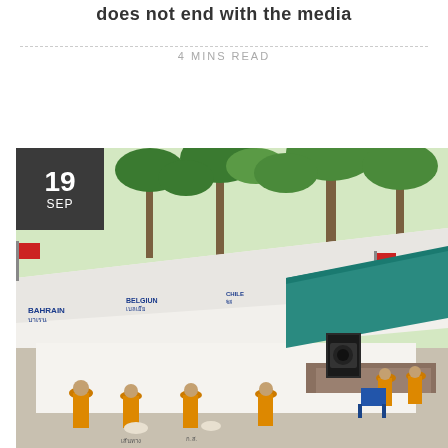does not end with the media
4 MINS READ
[Figure (photo): Outdoor ceremony scene with Buddhist monks in orange robes standing near a stage with a blue tarp, flags along a white wall with country names including BAHRAIN and BELGIUM in Thai and English, palm trees in background. Date badge overlay: 19 SEP in dark gray box.]